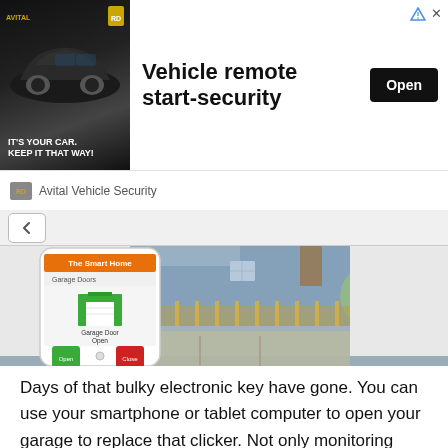[Figure (screenshot): Advertisement banner for Avital Vehicle Security showing a dark car image with text 'IT'S YOUR CAR. KEEP IT THAT WAY!' and headline 'Vehicle remote start-security' with an Open button]
[Figure (photo): Composite image showing a smartphone with a smart home garage door app displaying an open garage door icon and Open/Close buttons, overlaid on a photo of an open garage looking out to a house with a wooden fence]
Days of that bulky electronic key have gone. You can use your smartphone or tablet computer to open your garage to replace that clicker. Not only monitoring with a smartphone is the feature of a smart garage door using